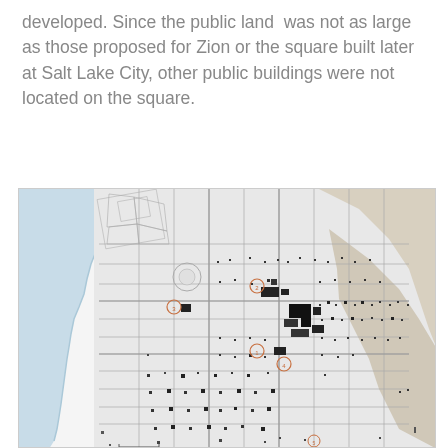developed. Since the public land was not as large as those proposed for Zion or the square built later at Salt Lake City, other public buildings were not located on the square.
[Figure (map): A map showing a city layout near a body of water (likely the Great Salt Lake area), with grid street patterns, scattered black dots representing buildings or structures, and numbered location markers circled in orange/red. The western portion shows a shoreline with light blue water.]